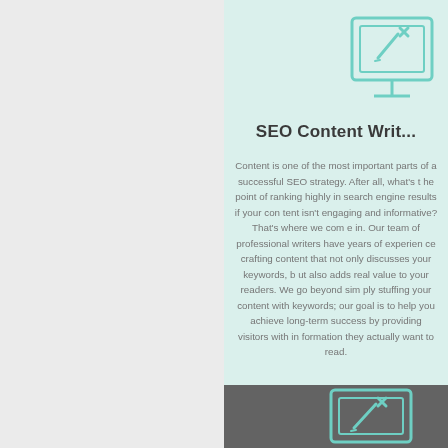[Figure (illustration): Teal outline icon of a laptop/monitor with a pencil and X symbol, on a light mint background, partially cropped at top-right]
SEO Content Writ...
Content is one of the most important parts of a successful SEO strategy. After all, what's the point of ranking highly in search engine results if your content isn't engaging and informative? That's where we come in. Our team of professional writers have years of experience crafting content that not only discusses your keywords, but also adds real value to your readers. We go beyond simply stuffing your content with keywords; our goal is to help you achieve long-term success by providing visitors with information they actually want to read.
[Figure (illustration): Teal outline icon of a laptop/monitor with a pencil and X symbol, on a dark gray background, partially cropped at bottom-right]